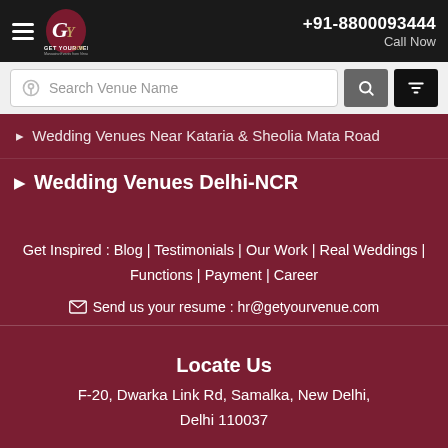[Figure (screenshot): GetYourVenue.com website header with logo, hamburger menu, and phone number +91-8800093444 with Call Now label]
Search Venue Name
Wedding Venues Near Kataria & Sheolia Mata Road
Wedding Venues Delhi-NCR
Get Inspired : Blog | Testimonials | Our Work | Real Weddings | Functions | Payment | Career
Send us your resume : hr@getyourvenue.com
Locate Us
F-20, Dwarka Link Rd, Samalka, New Delhi, Delhi 110037
Enquire Now
Chat with us